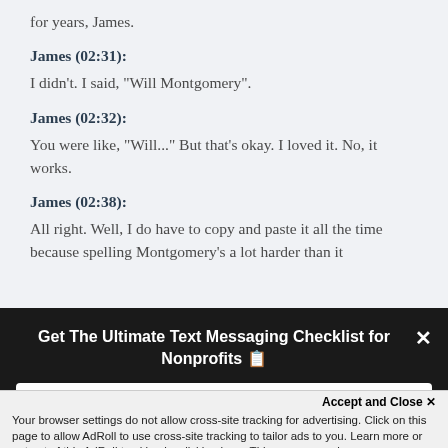for years, James.
James (02:31):
I didn't. I said, "Will Montgomery".
James (02:32):
You were like, "Will..." But that's okay. I loved it. No, it works.
James (02:38):
All right. Well, I do have to copy and paste it all the time because spelling Montgomery's a lot harder than it
Get The Ultimate Text Messaging Checklist for Nonprofits 📋
Your work email
Accept and Close ✕
Your browser settings do not allow cross-site tracking for advertising. Click on this page to allow AdRoll to use cross-site tracking to tailor ads to you. Learn more or opt out of this AdRoll tracking by clicking here. This message only appears once.